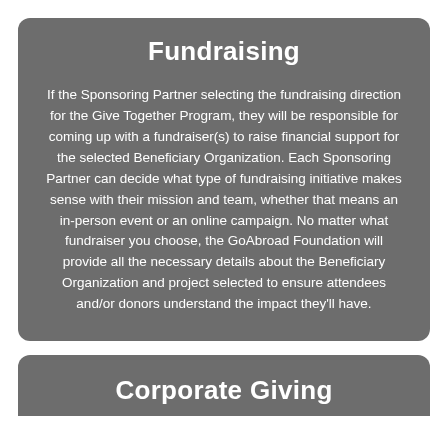Fundraising
If the Sponsoring Partner selecting the fundraising direction for the Give Together Program, they will be responsible for coming up with a fundraiser(s) to raise financial support for the selected Beneficiary Organization. Each Sponsoring Partner can decide what type of fundraising initiative makes sense with their mission and team, whether that means an in-person event or an online campaign. No matter what fundraiser you choose, the GoAbroad Foundation will provide all the necessary details about the Beneficiary Organization and project selected to ensure attendees and/or donors understand the impact they'll have.
Corporate Giving